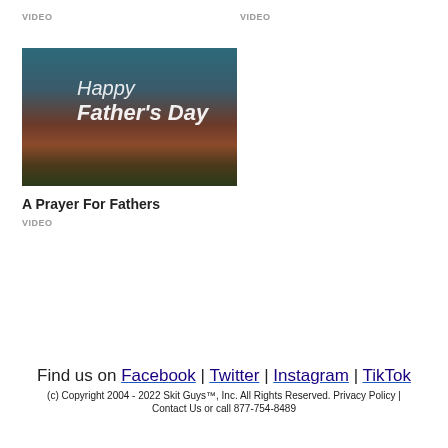VIDEO
VIDEO
[Figure (photo): Thumbnail image showing red rock canyon landscape with text 'Happy Father's Day' overlaid in italic white font]
A Prayer For Fathers
VIDEO
Find us on Facebook | Twitter | Instagram | TikTok
(c) Copyright 2004 - 2022 Skit Guys™, Inc. All Rights Reserved. Privacy Policy |
Contact Us or call 877-754-8489